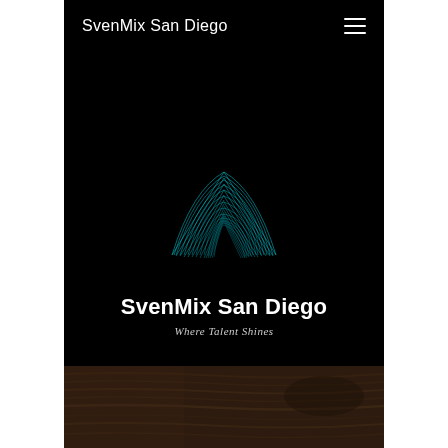SvenMix San Diego
[Figure (logo): SvenMix San Diego logo — an abstract M/arch shape made of fine cyan/teal radiating lines forming a wave-like mountain silhouette on a black background]
SvenMix San Diego
Where Talent Shines
[Figure (photo): Dark wood-grain surface photo at the bottom of the page]